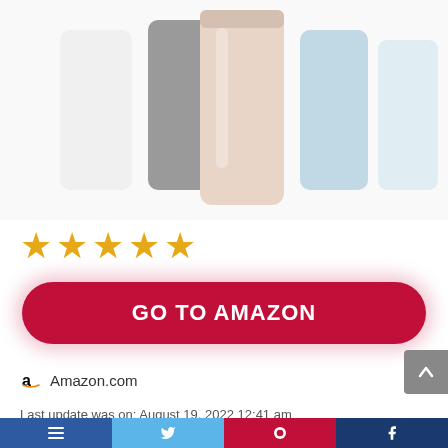[Figure (photo): Product photo showing multiple tumblers/cups in various colors (white, gray, rose gold/beige, light blue, pale blue) arranged in a row against white background]
[Figure (infographic): Five orange star rating icons arranged horizontally]
GO TO AMAZON
Amazon.com
Last update was on: August 19, 2022 12:41 am
[Figure (screenshot): Bottom navigation bar with blue, light blue, red/crimson, and dark blue segments with white icons]